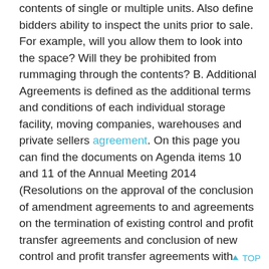contents of single or multiple units. Also define bidders ability to inspect the units prior to sale. For example, will you allow them to look into the space? Will they be prohibited from rummaging through the contents? B. Additional Agreements is defined as the additional terms and conditions of each individual storage facility, moving companies, warehouses and private sellers agreement. On this page you can find the documents on Agenda items 10 and 11 of the Annual Meeting 2014 (Resolutions on the approval of the conclusion of amendment agreements to and agreements on the termination of existing control and profit transfer agreements and conclusion of new control and profit transfer agreements with subsidiaries). Report of the contract auditor in accordance with sections 293b et seq. of the AktG on the voluntary audit of the profit transfer agreement between RHN-KLINIKUM AG and According to these profit transfer agreements, the subsidiaries are obliged to transfer all profits to the holding, which is in turn free to use them for any purpose, including the cross-subsidising of